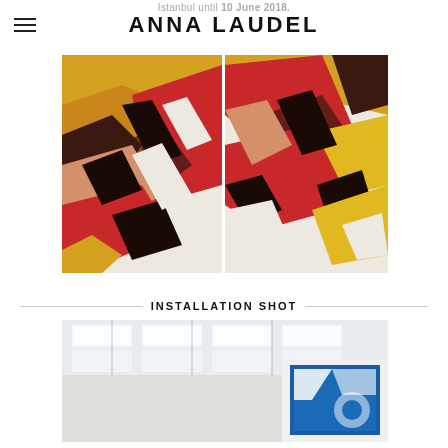Istanbul until 10 June 2018.
ANNA LAUDEL
[Figure (photo): Diptych artwork showing geometric abstract textile/tapestry panels with bold red, yellow, orange, and dark brown/black angular shapes on cream/off-white background]
INSTALLATION SHOT
[Figure (photo): Installation shot of a gallery space with white ceiling and grid of rectangular light panels, showing artworks on the wall including a piece with blue and white geometric patterns on the right side]